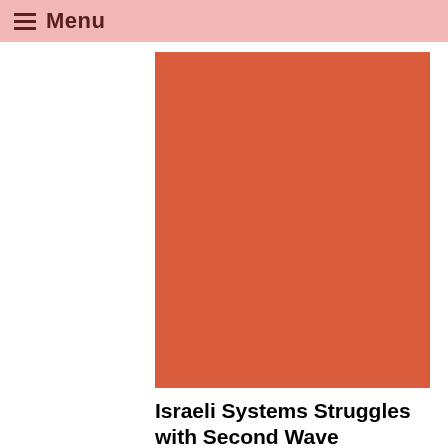Menu
[Figure (photo): Red/orange rectangular image placeholder at top]
Israeli Systems Struggles with Second Wave
[Figure (photo): Red/orange rectangular image placeholder at bottom]